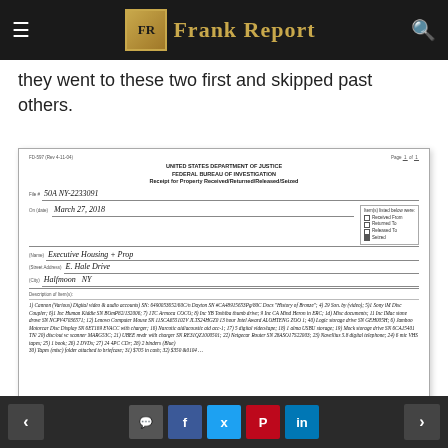Frank Report
they went to these two first and skipped past others.
[Figure (other): Scanned FBI FD-597 Receipt for Property Received/Returned/Released/Seized form. File # 50A NY-2233091. Date: March 27, 2018. Name: Executive Housing + Prop. Street Address: E. Hale Drive. City: Halfmoon, NY. Seized checkbox checked. Description of Item(s): handwritten list of seized items including Dell laptops, iMac, Sony cameras, Toshiba thumb drive, Mac hard drives, Lenovo computers, LaGcie storage devices, Blackberry phones, Motorola devices, Narcotics paraphernalia, digital video recorders, USB storage, Linksys router, UBEE router, Netgear router, Navellus 5.8 digital telephone, VHS tapes, books, DVDs, CDs, binders, and more.]
Navigation arrows and social share buttons